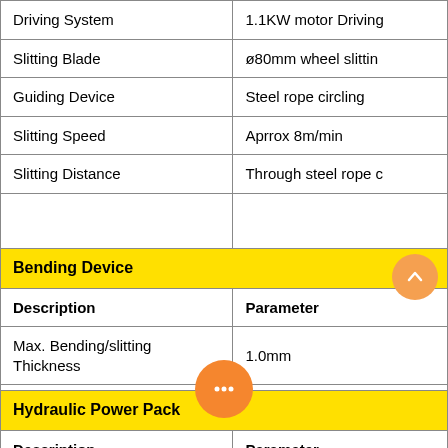| Description | Parameter |
| --- | --- |
| Driving System | 1.1KW motor Driving |
| Slitting Blade | ø80mm wheel slittin |
| Guiding Device | Steel rope circling |
| Slitting Speed | Aprrox 8m/min |
| Slitting Distance | Through steel rope c |
|  |  |
| Bending Device |  |
| --- | --- |
| Description | Parameter |
| Max. Bending/slitting Thickness | 1.0mm |
| Max. Bending Length | 6000mm |
| Hydraulic Power Pack |  |
| --- | --- |
| Description | Parameter |